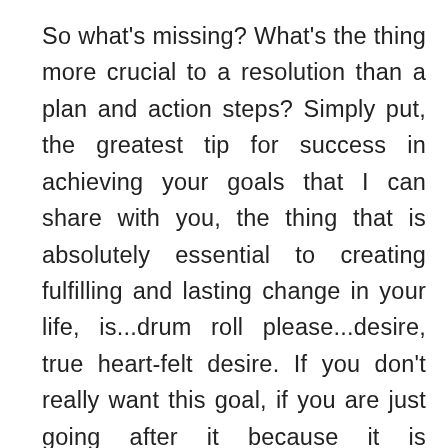So what's missing? What's the thing more crucial to a resolution than a plan and action steps? Simply put, the greatest tip for success in achieving your goals that I can share with you, the thing that is absolutely essential to creating fulfilling and lasting change in your life, is...drum roll please...desire, true heart-felt desire. If you don't really want this goal, if you are just going after it because it is something society, or your parents, or your friends, or your partner, or your co-workers, have told you that should want, but it's not what is in your heart, then achieving it